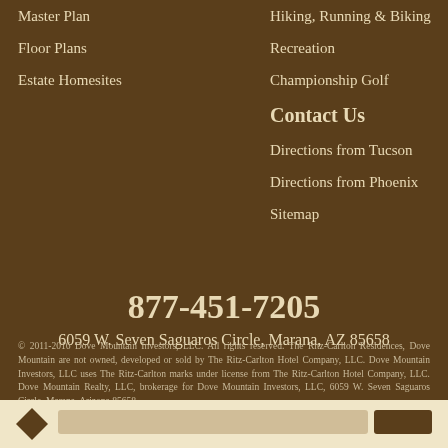Master Plan
Floor Plans
Estate Homesites
Hiking, Running & Biking
Recreation
Championship Golf
Contact Us
Directions from Tucson
Directions from Phoenix
Sitemap
877-451-7205
6059 W. Seven Saguaros Circle, Marana, AZ 85658
© 2011-2016 Dove Mountain Investors, LLC. All rights reserved. The Ritz-Carlton Residences, Dove Mountain are not owned, developed or sold by The Ritz-Carlton Hotel Company, LLC. Dove Mountain Investors, LLC uses The Ritz-Carlton marks under license from The Ritz-Carlton Hotel Company, LLC. Dove Mountain Realty, LLC, brokerage for Dove Mountain Investors, LLC, 6059 W. Seven Saguaros Circle, Marana, Arizona 85658.